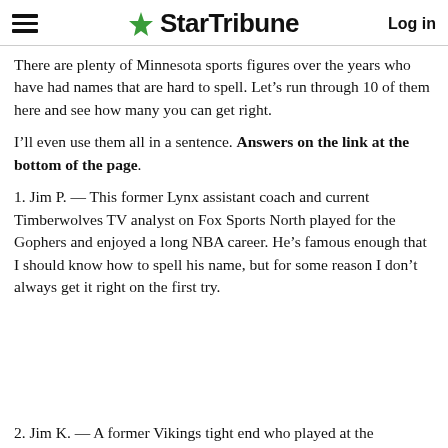StarTribune — Log in
There are plenty of Minnesota sports figures over the years who have had names that are hard to spell. Let's run through 10 of them here and see how many you can get right.
I'll even use them all in a sentence. Answers on the link at the bottom of the page.
1. Jim P. — This former Lynx assistant coach and current Timberwolves TV analyst on Fox Sports North played for the Gophers and enjoyed a long NBA career. He's famous enough that I should know how to spell his name, but for some reason I don't always get it right on the first try.
2. Jim K. — A former Vikings tight end who played at the